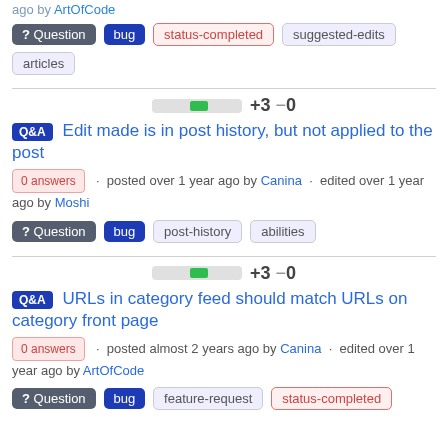ago by ArtOfCode
? Question  bug  status-completed  suggested-edits  articles
+3 −0 (score bar)
Q&A  Edit made is in post history, but not applied to the post
0 answers · posted over 1 year ago by Canina · edited over 1 year ago by Moshi
? Question  bug  post-history  abilities
+3 −0 (score bar)
Q&A  URLs in category feed should match URLs on category front page
0 answers · posted almost 2 years ago by Canina · edited over 1 year ago by ArtOfCode
? Question  bug  feature-request  status-completed